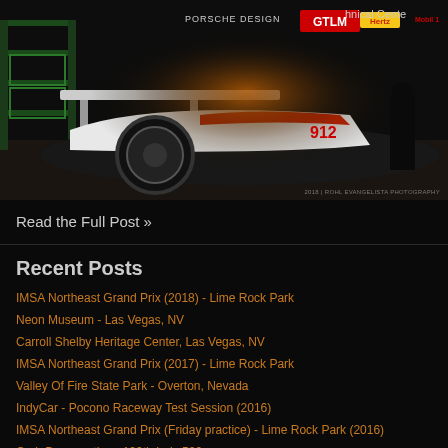[Figure (photo): Racing car (Porsche GTLM) in a pit/garage area with GTLM, Hertz, Mobil 1 sponsor logos visible. Dark atmospheric photo with green lighting on left side and a person visible in background. Photo credit: 2018 | Rohl Evangelista Photography]
Read the Full Post »
Recent Posts
IMSA Northeast Grand Prix (2018) - Lime Rock Park
Neon Museum - Las Vegas, NV
Carroll Shelby Heritage Center, Las Vegas, NV
IMSA Northeast Grand Prix (2017) - Lime Rock Park
Valley Of Fire State Park - Overton, Nevada
IndyCar - Pocono Raceway Test Session (2016)
IMSA Northeast Grand Prix (Friday practice) - Lime Rock Park (2016)
Carb Day practice - 100th Indy 500
Northeast Grand Prix Weekend (2015) - Lime Rock Park
Sahlen's 6 Hours of The Glen weekend (2015) - Watkins Glen International
Archive